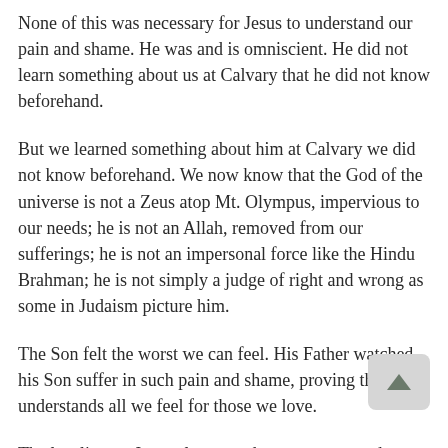None of this was necessary for Jesus to understand our pain and shame. He was and is omniscient. He did not learn something about us at Calvary that he did not know beforehand.
But we learned something about him at Calvary we did not know beforehand. We now know that the God of the universe is not a Zeus atop Mt. Olympus, impervious to our needs; he is not an Allah, removed from our sufferings; he is not an impersonal force like the Hindu Brahman; he is not simply a judge of right and wrong as some in Judaism picture him.
The Son felt the worst we can feel. His Father watched his Son suffer in such pain and shame, proving that he understands all we feel for those we love.
The last line — Jesus always and never ceases and...